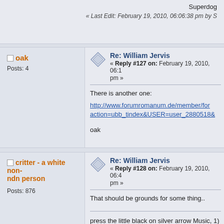Superdog
« Last Edit: February 19, 2010, 06:06:38 pm by S
oak | Posts: 4
Re: William Jervis
« Reply #127 on: February 19, 2010, 06:1 pm »
There is another one:
http://www.forumromanum.de/member/for action=ubb_tindex&USER=user_2880518

oak
critter - a white non-ndn person | Posts: 876
Re: William Jervis
« Reply #128 on: February 19, 2010, 06:4 pm »
That should be grounds for some thing..
press the little black on silver arrow Music, 1) Bo
http://www.4shared.com/file/114179563/3697e43